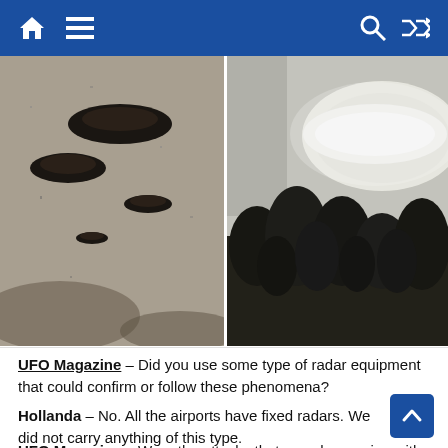Navigation bar with home, menu, search, and shuffle icons
[Figure (photo): Two side-by-side black and white photographs. Left photo shows multiple dark disc-shaped UFO objects in a grainy sky. Right photo shows a bright glowing oval/disc-shaped object in sky above silhouetted trees.]
UFO Magazine – Did you use some type of radar equipment that could confirm or follow these phenomena?
Hollanda – No. All the airports have fixed radars. We did not carry anything of this type.
UFO Magazine – Were the attacks that were happening with